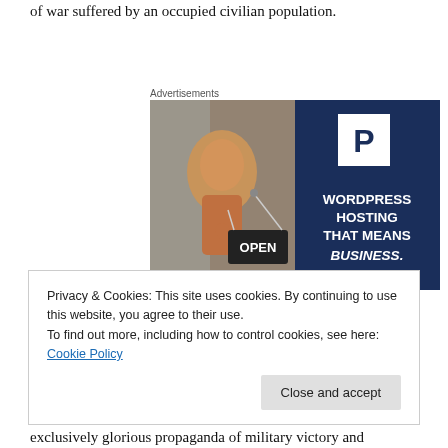of war suffered by an occupied civilian population.
Advertisements
[Figure (illustration): Advertisement banner for WordPress hosting showing a woman holding an OPEN sign on the left (photo) and dark navy blue background on the right with a white P logo and text: WORDPRESS HOSTING THAT MEANS BUSINESS.]
Privacy & Cookies: This site uses cookies. By continuing to use this website, you agree to their use.
To find out more, including how to control cookies, see here: Cookie Policy
Close and accept
exclusively glorious propaganda of military victory and